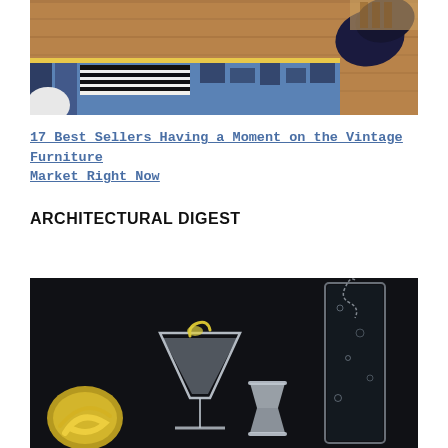[Figure (photo): Interior room photo showing a patterned blue geometric rug with white and navy pillows on a hardwood floor, partially cropped]
17 Best Sellers Having a Moment on the Vintage Furniture Market Right Now
ARCHITECTURAL DIGEST
[Figure (photo): Dark background photo showing a martini glass with a lemon twist garnish, a cocktail jigger, and a tall crystal glass with a chain cocktail strainer]